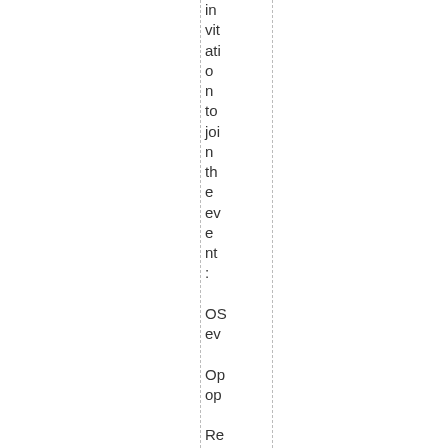invitation to join the event:

OS ev

Op op

Re ht

We th

Pa co an